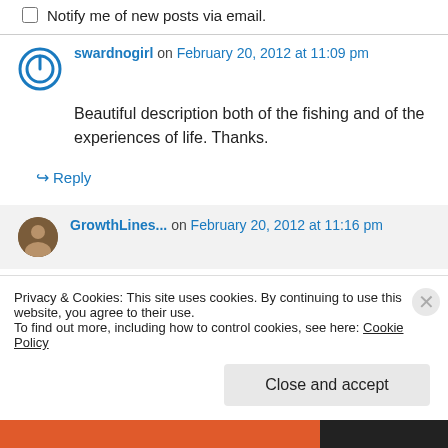Notify me of new posts via email.
swardnogirl on February 20, 2012 at 11:09 pm
Beautiful description both of the fishing and of the experiences of life. Thanks.
↪ Reply
GrowthLines... on February 20, 2012 at 11:16 pm
Privacy & Cookies: This site uses cookies. By continuing to use this website, you agree to their use.
To find out more, including how to control cookies, see here: Cookie Policy